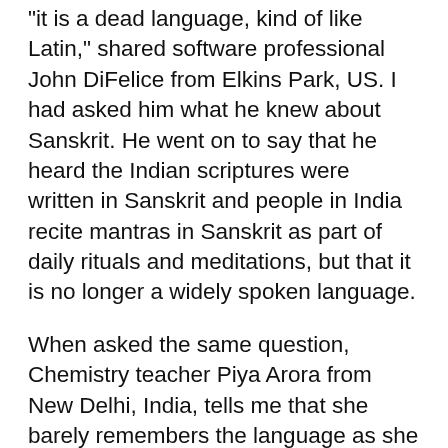“it is a dead language, kind of like Latin,” shared software professional John DiFelice from Elkins Park, US. I had asked him what he knew about Sanskrit. He went on to say that he heard the Indian scriptures were written in Sanskrit and people in India recite mantras in Sanskrit as part of daily rituals and meditations, but that it is no longer a widely spoken language.
When asked the same question, Chemistry teacher Piya Arora from New Delhi, India, tells me that she barely remembers the language as she learned it almost 20 years ago.